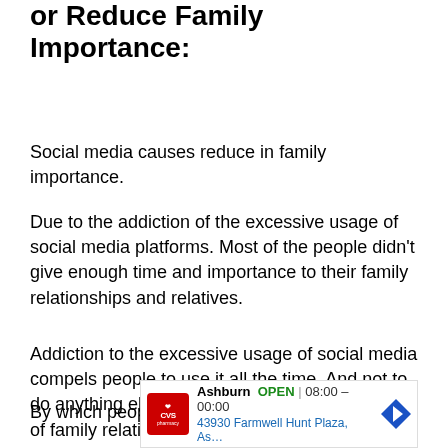or Reduce Family Importance:
Social media causes reduce in family importance.
Due to the addiction of the excessive usage of social media platforms. Most of the people didn’t give enough time and importance to their family relationships and relatives.
Addiction to the excessive usage of social media compels people to use it all the time. And not to do anything else. Which reduces the importance of family relationships and relatives.
By which people didn’t give enough time to their